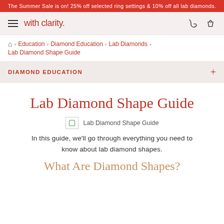The Summer Sale is on! 25% off selected ring settings & 10% off all lab diamonds.
[Figure (logo): with clarity. logo with hamburger menu and icons]
Education > Diamond Education > Lab Diamonds > Lab Diamond Shape Guide
DIAMOND EDUCATION
Lab Diamond Shape Guide
[Figure (photo): Lab Diamond Shape Guide image placeholder with broken image icon]
Lab Diamond Shape Guide
In this guide, we'll go through everything you need to know about lab diamond shapes.
What Are Diamond Shapes?